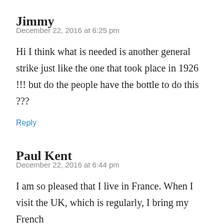Jimmy
December 22, 2016 at 6:25 pm
Hi I think what is needed is another general strike just like the one that took place in 1926 !!! but do the people have the bottle to do this ???
Reply
Paul Kent
December 22, 2016 at 6:44 pm
I am so pleased that I live in France. When I visit the UK, which is regularly, I bring my French